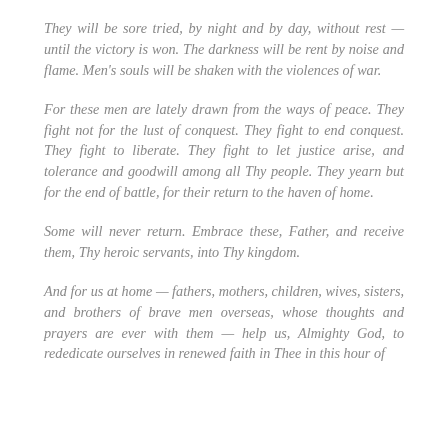They will be sore tried, by night and by day, without rest — until the victory is won. The darkness will be rent by noise and flame. Men's souls will be shaken with the violences of war.
For these men are lately drawn from the ways of peace. They fight not for the lust of conquest. They fight to end conquest. They fight to liberate. They fight to let justice arise, and tolerance and goodwill among all Thy people. They yearn but for the end of battle, for their return to the haven of home.
Some will never return. Embrace these, Father, and receive them, Thy heroic servants, into Thy kingdom.
And for us at home — fathers, mothers, children, wives, sisters, and brothers of brave men overseas, whose thoughts and prayers are ever with them — help us, Almighty God, to rededicate ourselves in renewed faith in Thee in this hour of